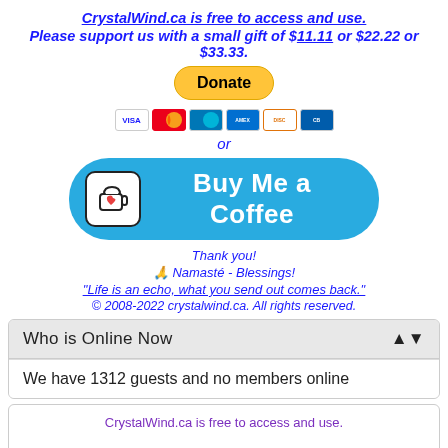CrystalWind.ca is free to access and use.
Please support us with a small gift of $11.11 or $22.22 or $33.33.
[Figure (other): Yellow PayPal Donate button]
[Figure (other): Credit card icons: Visa, Mastercard, Maestro, Amex, Discover, CB]
or
[Figure (other): Buy Me a Coffee button with coffee cup icon on teal/cyan background]
Thank you!
🙏 Namasté - Blessings!
"Life is an echo, what you send out comes back."
© 2008-2022 crystalwind.ca. All rights reserved.
Who is Online Now
We have 1312 guests and no members online
CrystalWind.ca is free to access and use.